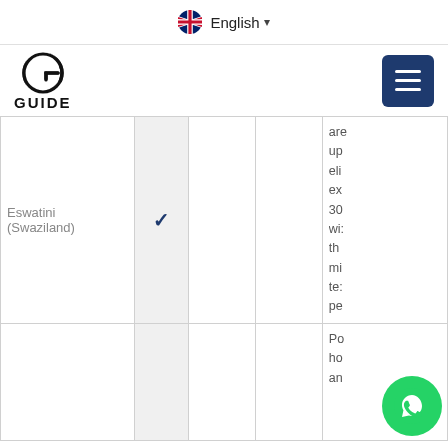English (language selector)
[Figure (logo): GUIDE website logo with circular G icon and GUIDE text, plus hamburger menu button]
| Country | Col2 | Col3 | Col4 | Notes |
| --- | --- | --- | --- | --- |
| Eswatini (Swaziland) | ✓ |  |  | are up eli ex 30 wi: th mi te pe |
|  |  |  |  | Po ho an |